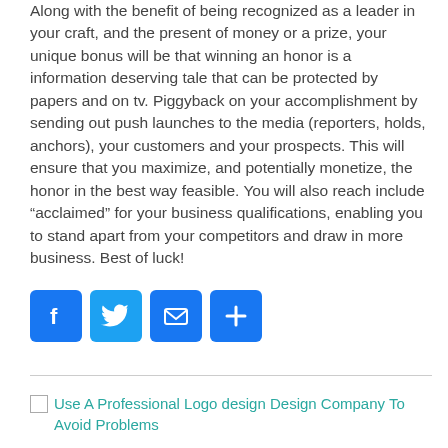Along with the benefit of being recognized as a leader in your craft, and the present of money or a prize, your unique bonus will be that winning an honor is a information deserving tale that can be protected by papers and on tv. Piggyback on your accomplishment by sending out push launches to the media (reporters, holds, anchors), your customers and your prospects. This will ensure that you maximize, and potentially monetize, the honor in the best way feasible. You will also reach include “acclaimed” for your business qualifications, enabling you to stand apart from your competitors and draw in more business. Best of luck!
[Figure (other): Social sharing buttons: Facebook (blue), Twitter (light blue), Email (blue envelope), Share/Add (blue plus)]
Use A Professional Logo design Design Company To Avoid Problems